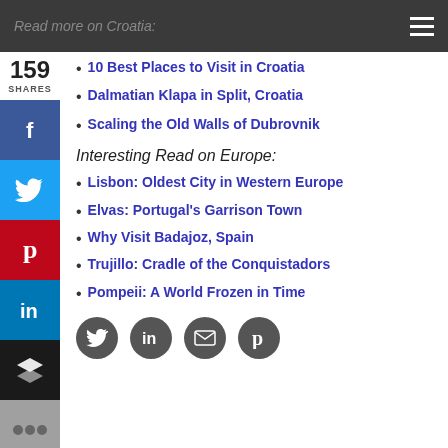Read more on Croatia:
10 Best Places to Visit in Croatia
Dalmatian Klapa in Split, Croatia
Scaling the Old Walls of Dubrovnik
Interesting Read on Europe:
Lisbon: Oldest City in Western Europe
Elvas: Portugal's Garrison Town
Why Visit Badajoz, Spain
Trujillo: Cradle of the Conquistadors
Pompeii: A World Frozen in Time
[Figure (infographic): Social share buttons: Facebook, Twitter, Pinterest, LinkedIn, Buffer, more. Share count: 159 SHARES. Bottom row social circle icons: Twitter, LinkedIn, Email, Pinterest.]